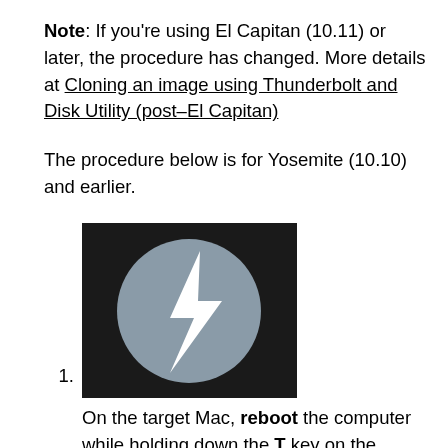Note: If you’re using El Capitan (10.11) or later, the procedure has changed. More details at Cloning an image using Thunderbolt and Disk Utility (post–El Capitan)
The procedure below is for Yosemite (10.10) and earlier.
[Figure (photo): Thunderbolt logo icon: dark background with a grey circle containing a white lightning bolt and a white downward arrow below it.]
On the target Mac, reboot the computer while holding down the T key on the keyboard to boot it into Target Disk mode. If you have done so successfully, you will see what appears to be a white lightning bolt on